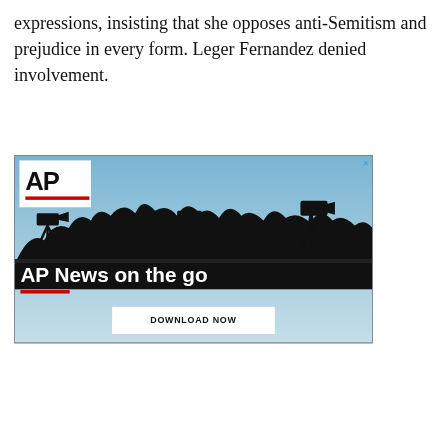expressions, insisting that she opposes anti-Semitism and prejudice in every form. Leger Fernandez denied involvement.
[Figure (illustration): AP News advertisement showing silhouettes of camera operators and journalists against a blue sky. Contains AP logo in white box top-left, text 'AP News on the go' in white, a red underline bar, and a 'DOWNLOAD NOW' white button at the bottom. A close (X) button appears top-right.]